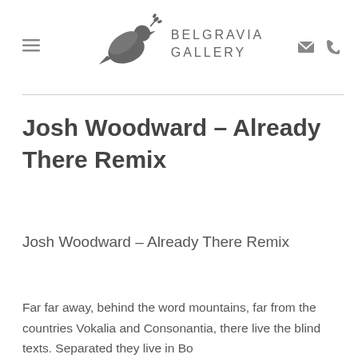BELGRAVIA GALLERY
Josh Woodward – Already There Remix
Josh Woodward – Already There Remix
Far far away, behind the word mountains, far from the countries Vokalia and Consonantia, there live the blind texts. Separated they live in Bookmarksgrove right at the coast of the…